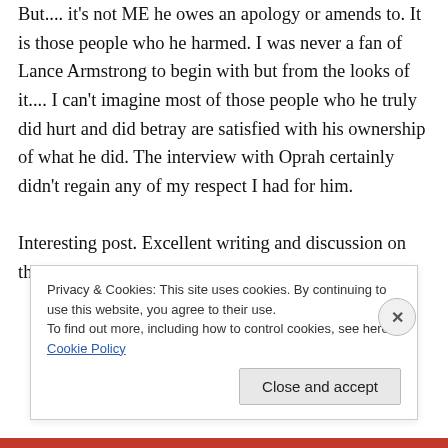But.... it's not ME he owes an apology or amends to. It is those people who he harmed. I was never a fan of Lance Armstrong to begin with but from the looks of it.... I can't imagine most of those people who he truly did hurt and did betray are satisfied with his ownership of what he did. The interview with Oprah certainly didn't regain any of my respect I had for him.

Interesting post. Excellent writing and discussion on this topic. A+
Privacy & Cookies: This site uses cookies. By continuing to use this website, you agree to their use.
To find out more, including how to control cookies, see here: Cookie Policy
Close and accept